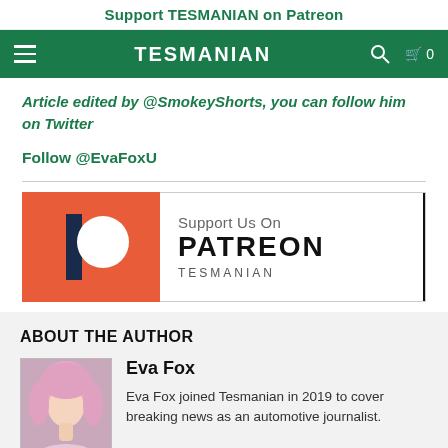Support TESMANIAN on Patreon
TESMANIAN
Article edited by @SmokeyShorts, you can follow him on Twitter
Follow @EvaFoxU
[Figure (logo): Patreon support banner with Patreon logo on coral/orange background on left and 'Support Us On PATREON TESMANIAN' text on right]
ABOUT THE AUTHOR
Eva Fox
[Figure (photo): Photo of Eva Fox, a woman with short pink/blonde hair]
Eva Fox joined Tesmanian in 2019 to cover breaking news as an automotive journalist.